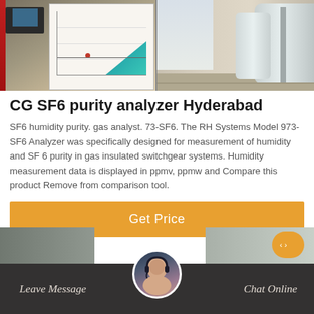[Figure (photo): Two side-by-side photos: left shows an industrial analyzer unit with a chart/graph display mounted on a white board with a computer monitor visible; right shows outdoor industrial tanks/cylinders.]
CG SF6 purity analyzer Hyderabad
SF6 humidity purity. gas analyst. 73-SF6. The RH Systems Model 973-SF6 Analyzer was specifically designed for measurement of humidity and SF 6 purity in gas insulated switchgear systems. Humidity measurement data is displayed in ppmv, ppmw and Compare this product Remove from comparison tool.
[Figure (other): Orange 'Get Price' button]
Leave Message   Chat Online